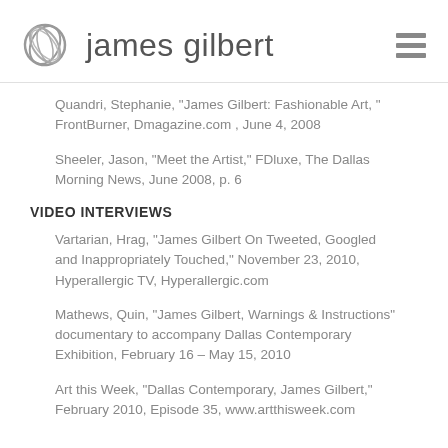james gilbert
Quandri, Stephanie, "James Gilbert: Fashionable Art," FrontBurner, Dmagazine.com , June 4, 2008
Sheeler, Jason, "Meet the Artist," FDluxe, The Dallas Morning News, June 2008, p. 6
VIDEO INTERVIEWS
Vartarian, Hrag, "James Gilbert On Tweeted, Googled and Inappropriately Touched," November 23, 2010, Hyperallergic TV, Hyperallergic.com
Mathews, Quin, "James Gilbert, Warnings & Instructions" documentary to accompany Dallas Contemporary Exhibition, February 16 – May 15, 2010
Art this Week, "Dallas Contemporary, James Gilbert," February 2010, Episode 35, www.artthisweek.com